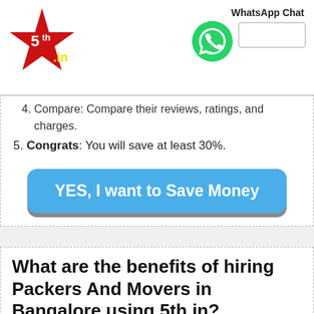[Figure (logo): 5th.in red star logo with '.in' text]
[Figure (screenshot): WhatsApp green phone icon with 'WhatsApp Chat' label and input box]
Compare: Compare their reviews, ratings, and charges.
Congrats: You will save at least 30%.
[Figure (other): Blue button reading 'YES, I want to Save Money']
What are the benefits of hiring Packers And Movers in Bangalore using 5th.in?
↳ Here are the top 10 benefits: